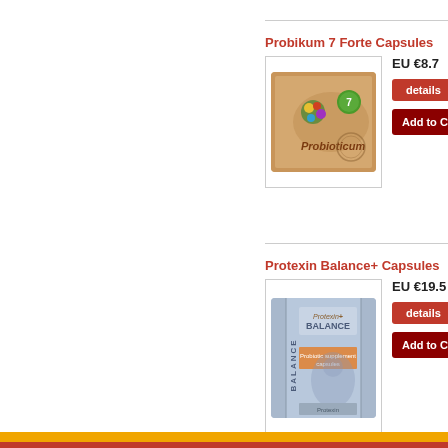Probikum 7 Forte Capsules
EU €8.7
[Figure (photo): Probioticum product package — stamp-style card with colorful illustration]
details
Add to Cart
Protexin Balance+ Capsules
EU €19.5
[Figure (photo): Protexin Balance+ product box — blue/grey box with orange label]
details
Add to Cart